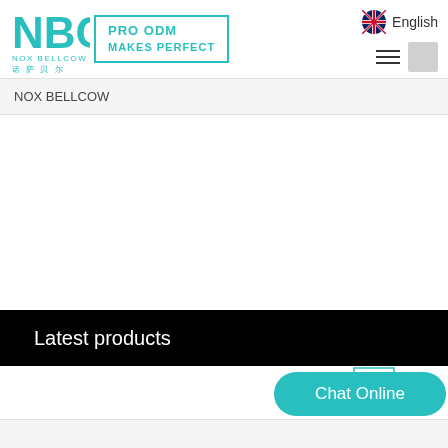NBC NOX BELLCOW — PRO ODM MAKES PERFECT — English
NOX BELLCOW
Latest products
[Figure (logo): NBC logo thumbnail in bottom right corner]
Chat Online